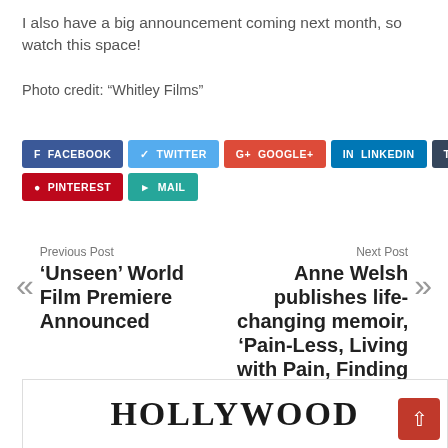I also have a big announcement coming next month, so watch this space!
Photo credit: “Whitley Films”
[Figure (infographic): Social media share buttons: Facebook, Twitter, Google+, LinkedIn, Tumblr, Pinterest, Mail]
Previous Post « ‘Unseen’ World Film Premiere Announced
Next Post Anne Welsh publishes life-changing memoir, ‘Pain-Less, Living with Pain, Finding Joy’ »
HOLLYWOOD